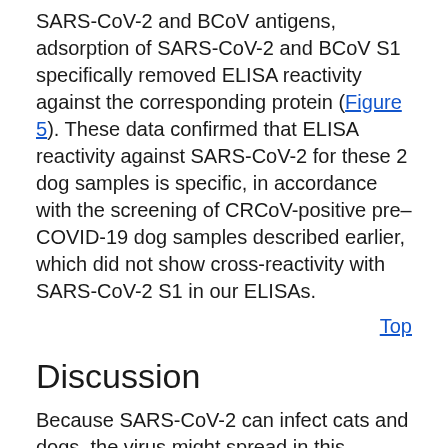SARS-CoV-2 and BCoV antigens, adsorption of SARS-CoV-2 and BCoV S1 specifically removed ELISA reactivity against the corresponding protein (Figure 5). These data confirmed that ELISA reactivity against SARS-CoV-2 for these 2 dog samples is specific, in accordance with the screening of CRCoV-positive pre–COVID-19 dog samples described earlier, which did not show cross-reactivity with SARS-CoV-2 S1 in our ELISAs.
Top
Discussion
Because SARS-CoV-2 can infect cats and dogs, the virus might spread in this population and animals might act as a reservoir with the possibility of animal-to-human transmission. Although so far the pandemic